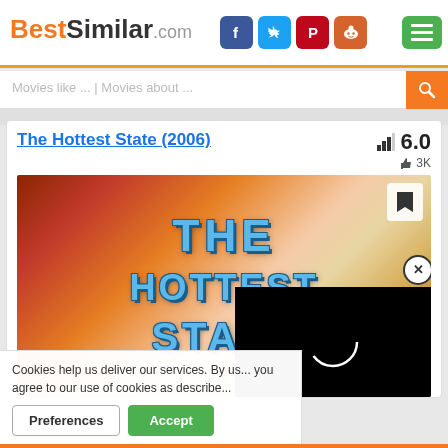BestSimilar.com
Movies like ... | Movies about ...
The Hottest State (2006)
6.0  3K
[Figure (photo): Movie poster for The Hottest State showing stylized blue text on a warm orange-red textured background, with a bookmark button in the top right and a black video loading panel in the bottom right]
Cookies help us deliver our services. By us... you agree to our use of cookies as describe...
Preferences   Accept